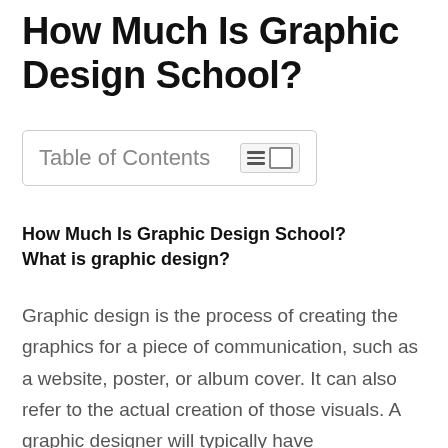How Much Is Graphic Design School?
Table of Contents
How Much Is Graphic Design School? What is graphic design?
Graphic design is the process of creating the graphics for a piece of communication, such as a website, poster, or album cover. It can also refer to the actual creation of those visuals. A graphic designer will typically have